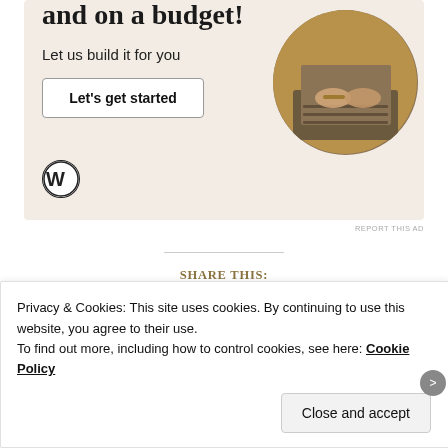[Figure (illustration): WordPress advertisement banner with beige background, headline partially visible ('and on a budget!'), subtext 'Let us build it for you', a 'Let's get started' button, WordPress logo, and circular photo of hands typing on a laptop]
REPORT THIS AD
Share this:
Email  Twitter  Facebook  LinkedIn  Tumblr  Print
Privacy & Cookies: This site uses cookies. By continuing to use this website, you agree to their use.
To find out more, including how to control cookies, see here: Cookie Policy
Close and accept